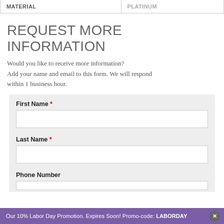| MATERIAL | PLATINUM |
| --- | --- |
REQUEST MORE INFORMATION
Would you like to receive more information? Add your name and email to this form. We will respond within 1 business hour.
First Name * [input field]
Last Name * [input field]
Phone Number [input field]
Our 10% Labor Day Promotion. Expires Soon! Promo-code: LABORDAY